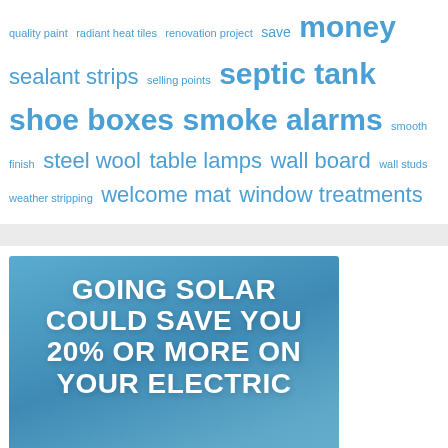quality paint radiant heat tiles renovation project save money sealant strips selling points septic tank shoe boxes smoke alarms smooth finish steel wool table lamps wall board wall studs weather stripping welcome mat window treatments
[Figure (infographic): Advertisement banner with blue gradient background. Bold white text reads: GOING SOLAR COULD SAVE YOU 20% OR MORE ON YOUR ELECTRIC. A hand is partially visible at the bottom. A teal button at the bottom reads: GET A FREE QUOTE]